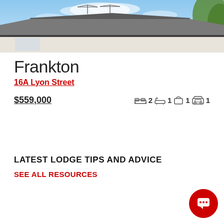[Figure (photo): Exterior photo of a house showing roofline with TV antennas against a blue sky with light clouds and trees visible on the right.]
Frankton
16A Lyon Street
$559,000   🛏 2  🛁 1  🚿 1  🚗 1
LATEST LODGE TIPS AND ADVICE
SEE ALL RESOURCES